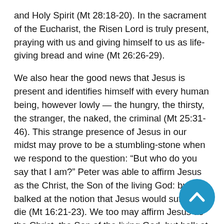and Holy Spirit (Mt 28:18-20). In the sacrament of the Eucharist, the Risen Lord is truly present, praying with us and giving himself to us as life-giving bread and wine (Mt 26:26-29).
We also hear the good news that Jesus is present and identifies himself with every human being, however lowly — the hungry, the thirsty, the stranger, the naked, the criminal (Mt 25:31-46). This strange presence of Jesus in our midst may prove to be a stumbling-stone when we respond to the question: “But who do you say that I am?” Peter was able to affirm Jesus as the Christ, the Son of the living God: but balked at the notion that Jesus would suffer and die (Mt 16:21-23). We too may affirm Jesus as the Christ, the Son of the living God, but balk at the notion that Jesus is now present as the one in need. In fact, every human being by Christ’s power becomes a double reality
[Figure (other): Blue circular scroll-to-top button with upward chevron arrow icon, positioned at bottom right of page]